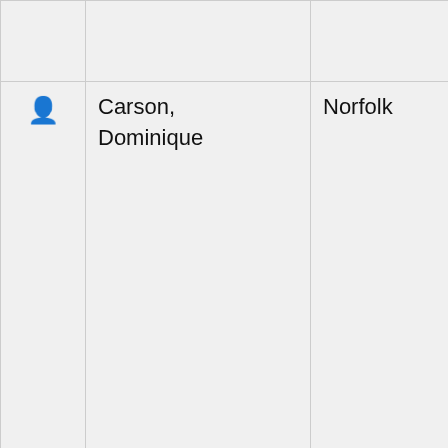|  | Name | City | State | Subjects | Services |
| --- | --- | --- | --- | --- | --- |
|  |  |  |  |  | Edit |
| (person icon) | Carson, Dominique | Norfolk | VA | Biography, Health And Wellness, History, Investigative Reporting, Literature, Music, Technology, Theatre, Transportation, Travel | Aca and Blo Writ Edit Cop Fea Gho Jour Mag New Writ Writ Spe Res Scie |